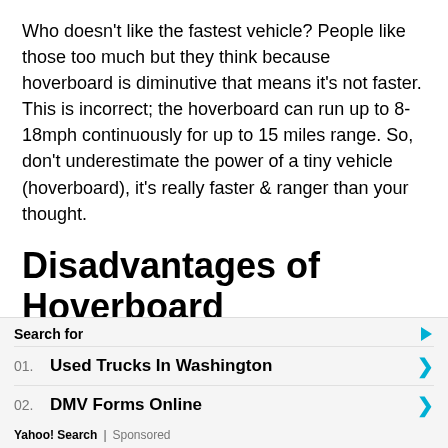Who doesn't like the fastest vehicle? People like those too much but they think because hoverboard is diminutive that means it's not faster. This is incorrect; the hoverboard can run up to 8-18mph continuously for up to 15 miles range. So, don't underestimate the power of a tiny vehicle (hoverboard), it's really faster & ranger than your thought.
Disadvantages of Hoverboard (hoverboard cons)
When first time hoverboard comes in the market in 2013. People saw that majority of a celebrity using
[Figure (infographic): Yahoo Search sponsored ad overlay with 'Search for' header and two items: 01. Used Trucks In Washington, 02. DMV Forms Online. Footer shows Yahoo! Search | Sponsored.]